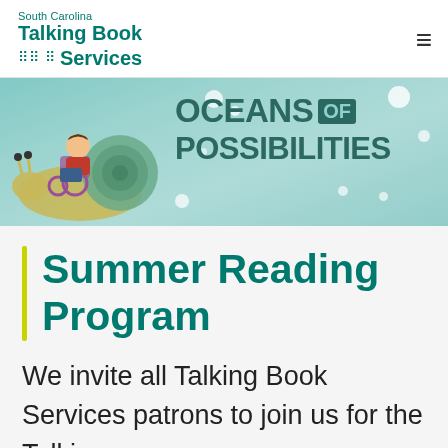South Carolina Talking Book Services
[Figure (illustration): Oceans of Possibilities banner with a child in a wheelchair riding a large snail, text 'OCEANS OF POSSIBILITIES' on teal background with bubbles]
Summer Reading Program
We invite all Talking Book Services patrons to join us for the Talking